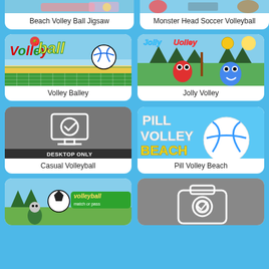[Figure (screenshot): Beach Volley Ball Jigsaw game thumbnail - partial view at top]
Beach Volley Ball Jigsaw
[Figure (screenshot): Monster Head Soccer Volleyball game thumbnail - partial view at top]
Monster Head Soccer Volleyball
[Figure (screenshot): Volley Balley game thumbnail with colorful volleyball text logo]
Volley Balley
[Figure (screenshot): Jolly Volley game thumbnail with cartoon characters]
Jolly Volley
[Figure (screenshot): Casual Volleyball game thumbnail with desktop monitor icon and DESKTOP ONLY badge]
Casual Volleyball
[Figure (screenshot): Pill Volley Beach game thumbnail with beach volleyball]
Pill Volley Beach
[Figure (screenshot): Volleyball Match or Pass game thumbnail - partially visible at bottom]
[Figure (screenshot): Game with camera/phone icon thumbnail - partially visible at bottom]